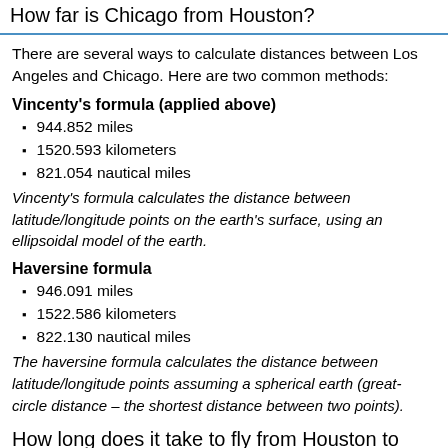How far is Chicago from Houston?
There are several ways to calculate distances between Los Angeles and Chicago. Here are two common methods:
Vincenty's formula (applied above)
944.852 miles
1520.593 kilometers
821.054 nautical miles
Vincenty's formula calculates the distance between latitude/longitude points on the earth's surface, using an ellipsoidal model of the earth.
Haversine formula
946.091 miles
1522.586 kilometers
822.130 nautical miles
The haversine formula calculates the distance between latitude/longitude points assuming a spherical earth (great-circle distance – the shortest distance between two points).
How long does it take to fly from Houston to Chicago?